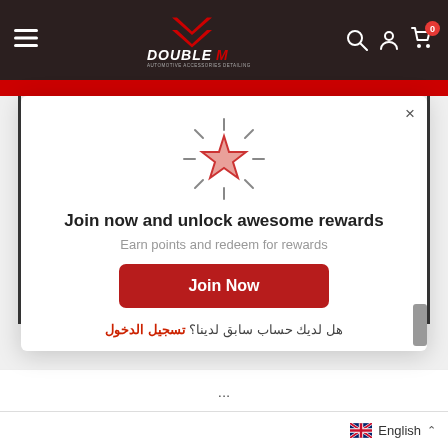[Figure (logo): Double M automotive accessories detailing logo with red double-chevron icon on dark background navigation bar]
[Figure (illustration): Glowing star icon with sparkle lines, salmon/pink fill with red outline, centered in modal dialog]
Join now and unlock awesome rewards
Earn points and redeem for rewards
Join Now
هل لديك حساب سابق لدينا؟ تسجيل الدخول
English